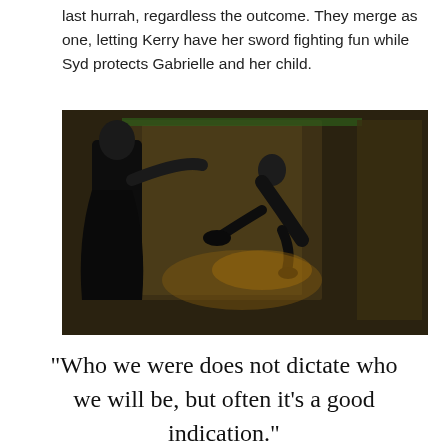last hurrah, regardless the outcome. They merge as one, letting Kerry have her sword fighting fun while Syd protects Gabrielle and her child.
[Figure (photo): Dark scene from a movie or TV show showing two figures engaged in combat or a dramatic confrontation, with one figure appearing to leap or be thrown, set in an ornate dimly-lit interior with golden-brown tones.]
“Who we were does not dictate who we will be, but often it’s a good indication.”